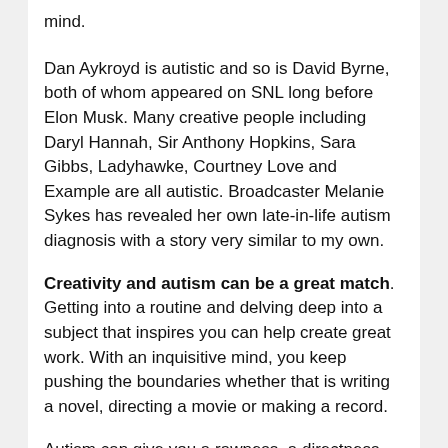mind.
Dan Aykroyd is autistic and so is David Byrne, both of whom appeared on SNL long before Elon Musk. Many creative people including Daryl Hannah, Sir Anthony Hopkins, Sara Gibbs, Ladyhawke, Courtney Love and Example are all autistic. Broadcaster Melanie Sykes has revealed her own late-in-life autism diagnosis with a story very similar to my own.
Creativity and autism can be a great match. Getting into a routine and delving deep into a subject that inspires you can help create great work. With an inquisitive mind, you keep pushing the boundaries whether that is writing a novel, directing a movie or making a record.
Autism can give you a rawness, a directness and an authenticity that can help you cut through. You say what other people might only dare think. I once told an iconic rock act, renowned for their perfectionist approach to production and mixing and who had categorically refused